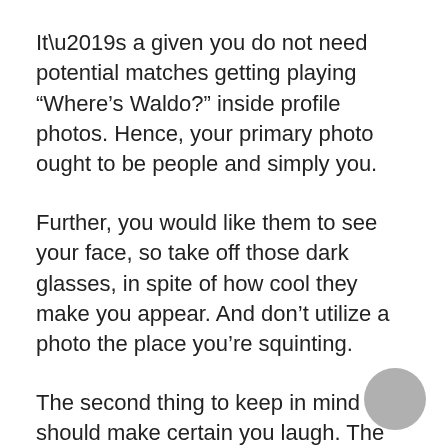It’s a given you do not need potential matches getting playing “Where’s Waldo?” inside profile photos. Hence, your primary photo ought to be people and simply you.
Further, you would like them to see your face, so take off those dark glasses, in spite of how cool they make you appear. And don’t utilize a photo the place you’re squinting.
The second thing to keep in mind should make certain you laugh. The look makes a massive improvement.
Finally, the caliber of the image things. Remember, this is the picture that you are utilizing to essentially promote yourself to